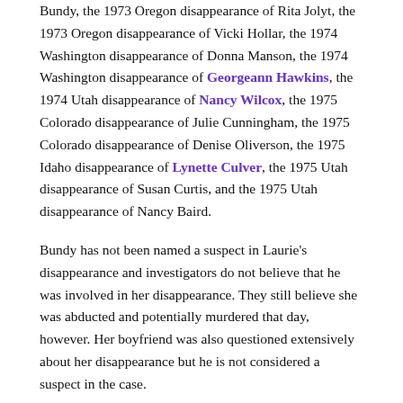Bundy, the 1973 Oregon disappearance of Rita Jolyt, the 1973 Oregon disappearance of Vicki Hollar, the 1974 Washington disappearance of Donna Manson, the 1974 Washington disappearance of Georgeann Hawkins, the 1974 Utah disappearance of Nancy Wilcox, the 1975 Colorado disappearance of Julie Cunningham, the 1975 Colorado disappearance of Denise Oliverson, the 1975 Idaho disappearance of Lynette Culver, the 1975 Utah disappearance of Susan Curtis, and the 1975 Utah disappearance of Nancy Baird.
Bundy has not been named a suspect in Laurie's disappearance and investigators do not believe that he was involved in her disappearance. They still believe she was abducted and potentially murdered that day, however. Her boyfriend was also questioned extensively about her disappearance but he is not considered a suspect in the case.